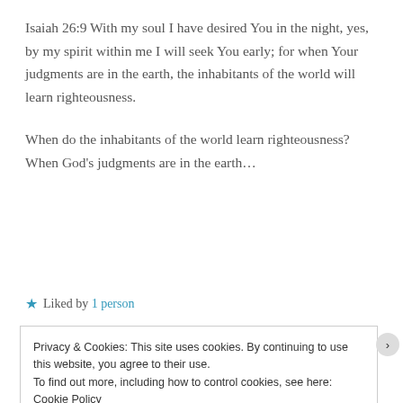Isaiah 26:9 With my soul I have desired You in the night, yes, by my spirit within me I will seek You early; for when Your judgments are in the earth, the inhabitants of the world will learn righteousness.
When do the inhabitants of the world learn righteousness? When God’s judgments are in the earth...
★ Liked by 1 person
Privacy & Cookies: This site uses cookies. By continuing to use this website, you agree to their use. To find out more, including how to control cookies, see here: Cookie Policy
Close and accept